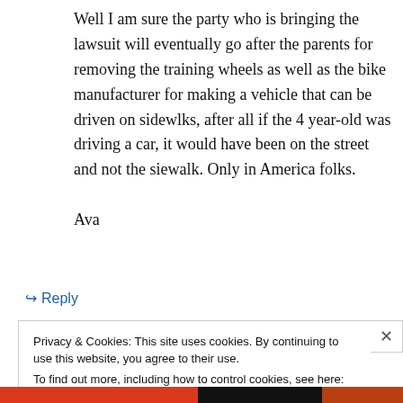Well I am sure the party who is bringing the lawsuit will eventually go after the parents for removing the training wheels as well as the bike manufacturer for making a vehicle that can be driven on sidewlks, after all if the 4 year-old was driving a car, it would have been on the street and not the siewalk. Only in America folks.

Ava
↳ Reply
Privacy & Cookies: This site uses cookies. By continuing to use this website, you agree to their use.
To find out more, including how to control cookies, see here: Cookie Policy